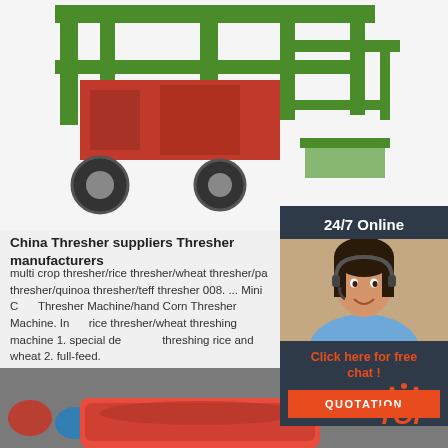[Figure (photo): Agricultural thresher machine with green and red frame on wheels, photographed against white background]
China Thresher suppliers Thresher manufacturers
multi crop thresher/rice thresher/wheat thresher/paddy thresher/quinoa thresher/teff thresher 008. ... Mini Corn Thresher Machine/hand Corn Thresher Machine. In rice thresher/wheat threshing machine 1. special design for threshing rice and wheat 2. full-feed.
[Figure (photo): 24/7 Online customer service widget with a smiling woman wearing a headset, dark navy background, orange Click here for free chat text, and orange QUOTATION button]
[Figure (photo): Bottom image showing colorful industrial equipment parts with a red container in the foreground, with orange TOP badge overlay]